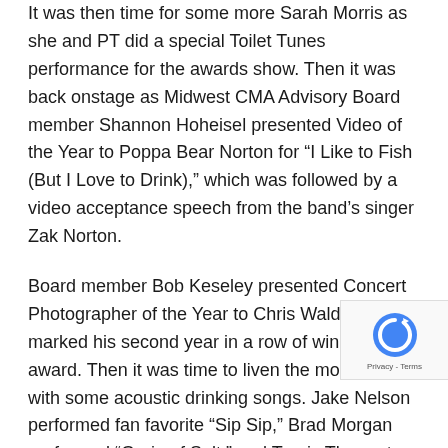It was then time for some more Sarah Morris as she and PT did a special Toilet Tunes performance for the awards show. Then it was back onstage as Midwest CMA Advisory Board member Shannon Hoheisel presented Video of the Year to Poppa Bear Norton for “I Like to Fish (But I Love to Drink),” which was followed by a video acceptance speech from the band’s singer Zak Norton.
Board member Bob Keseley presented Concert Photographer of the Year to Chris Walden who marked his second year in a row of winning the award. Then it was time to liven the mood up with some acoustic drinking songs. Jake Nelson performed fan favorite “Sip Sip,” Brad Morgan performed “Grain of Salt,” and Travis Thamert performed “Day Drinkers.”
Immunity and Mavericks
After PT came onstage claiming his immunity to the coronavirus due his battle of Corona in his hand, Midwest